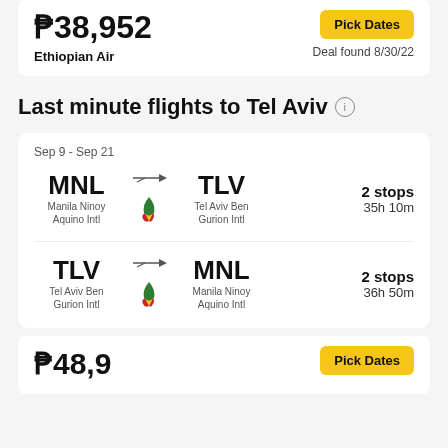₱38,952
Ethiopian Air
Deal found 8/30/22
Last minute flights to Tel Aviv
Sep 9 - Sep 21
MNL → TLV | Manila Ninoy Aquino Intl → Tel Aviv Ben Gurion Intl | 2 stops | 35h 10m
TLV → MNL | Tel Aviv Ben Gurion Intl → Manila Ninoy Aquino Intl | 2 stops | 36h 50m
₱48,9...